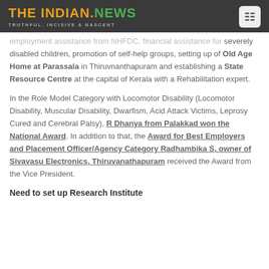THE INDIAN.NEWS — TRUTHFUL, INCISIVE & NASCENT
employment assistance from NHFDC, financial assistance for severely disabled children, promotion of self-help groups, setting up of Old Age Home at Parassala in Thiruvnanthapuram and establishing a State Resource Centre at the capital of Kerala with a Rehabilitation expert.
In the Role Model Category with Locomotor Disability (Locomotor Disability, Muscular Disability, Dwarfism, Acid Attack Victims, Leprosy Cured and Cerebral Palsy), R Dhanya from Palakkad won the National Award. In addition to that, the Award for Best Employers and Placement Officer/Agency Category Radhambika S, owner of Sivavasu Electronics, Thiruvanathapuram received the Award from the Vice President.
Need to set up Research Institute